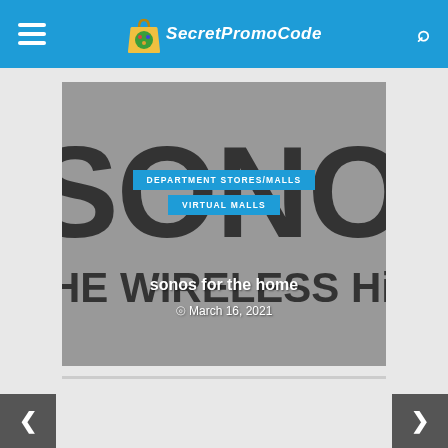SecretPromoCode
[Figure (screenshot): Sonos brand image with grey background showing large SONOS lettering and 'THE WIRELESS HiFi SYST' text, overlaid with category badges and article title]
DEPARTMENT STORES/MALLS
VIRTUAL MALLS
sonos for the home
March 16, 2021